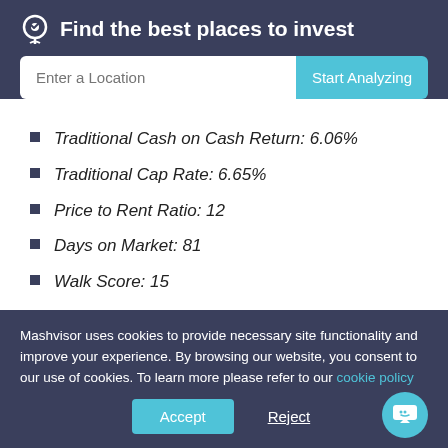Find the best places to invest
Traditional Cash on Cash Return: 6.06%
Traditional Cap Rate: 6.65%
Price to Rent Ratio: 12
Days on Market: 81
Walk Score: 15
8. Dunkirk, IN
Mashvisor uses cookies to provide necessary site functionality and improve your experience. By browsing our website, you consent to our use of cookies. To learn more please refer to our cookie policy